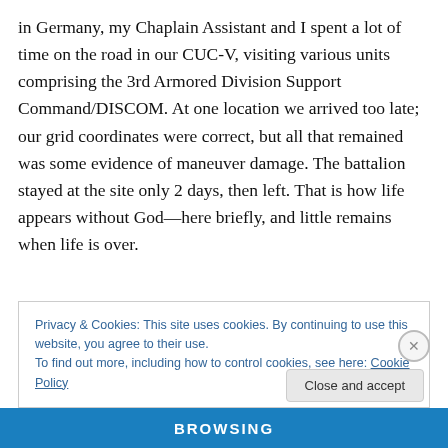in Germany, my Chaplain Assistant and I spent a lot of time on the road in our CUC-V, visiting various units comprising the 3rd Armored Division Support Command/DISCOM. At one location we arrived too late; our grid coordinates were correct, but all that remained was some evidence of maneuver damage. The battalion stayed at the site only 2 days, then left. That is how life appears without God—here briefly, and little remains when life is over.
Privacy & Cookies: This site uses cookies. By continuing to use this website, you agree to their use. To find out more, including how to control cookies, see here: Cookie Policy
Close and accept